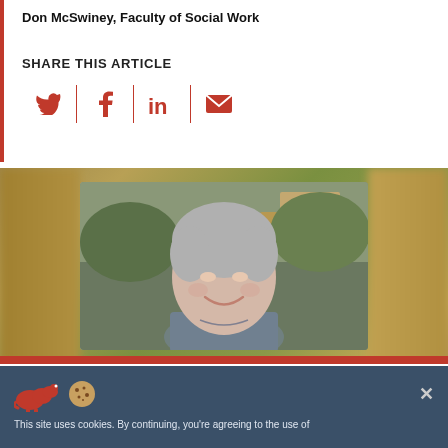Don McSwiney, Faculty of Social Work
SHARE THIS ARTICLE
[Figure (screenshot): Social share icons: Twitter, Facebook, LinkedIn, Email separated by red vertical dividers]
[Figure (photo): Portrait photo of an older woman with short grey hair, smiling, wearing a grey jacket and necklace, outdoors with green and stone background. Photo is centered with blurred olive/golden bokeh background on either side. Red bar at the bottom.]
This site uses cookies. By continuing, you're agreeing to the use of